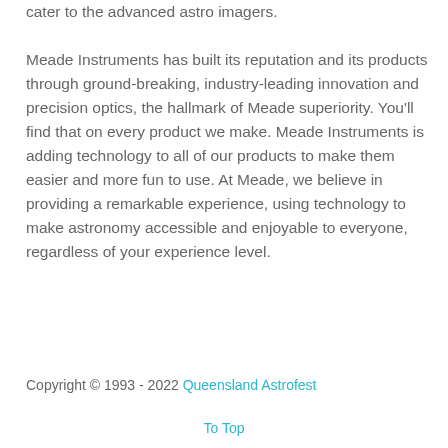cater to the advanced astro imagers.
Meade Instruments has built its reputation and its products through ground-breaking, industry-leading innovation and precision optics, the hallmark of Meade superiority. You'll find that on every product we make. Meade Instruments is adding technology to all of our products to make them easier and more fun to use. At Meade, we believe in providing a remarkable experience, using technology to make astronomy accessible and enjoyable to everyone, regardless of your experience level.
Copyright © 1993 - 2022 Queensland Astrofest
To Top